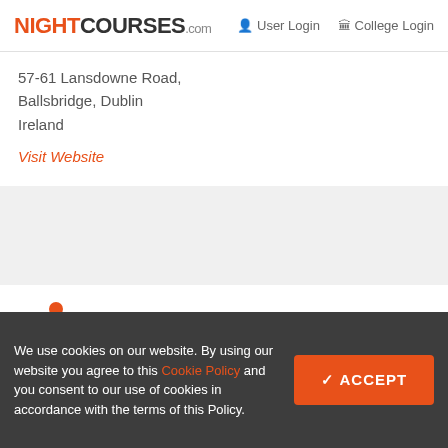NIGHTCOURSES.com  User Login  College Login
57-61 Lansdowne Road, Ballsbridge, Dublin Ireland
Visit Website
[Figure (logo): Share icon (orange nodes connected)]
Share & Print
[Figure (infographic): Social share buttons: Facebook, Twitter, Email, Pinterest, More]
We use cookies on our website. By using our website you agree to this Cookie Policy and you consent to our use of cookies in accordance with the terms of this Policy.